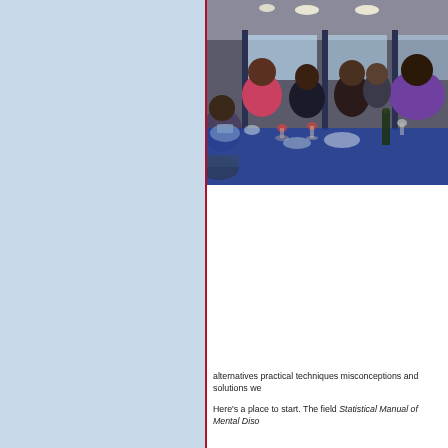[Figure (photo): People seated at tables in a conference or banquet hall setting, with glasses and bottles on the tables, viewed from behind. The room has ceiling lights and large windows.]
alternatives practical techniques misconceptions and solutions we
Here's a place to start. The field Statistical Manual of Mental Diso